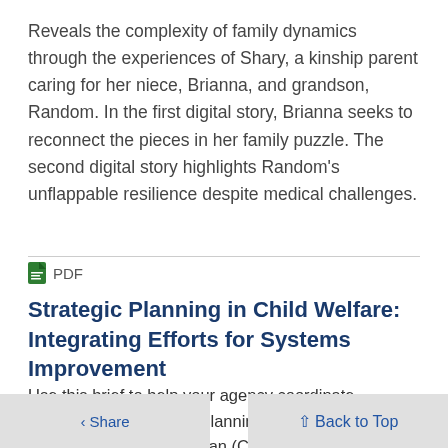Reveals the complexity of family dynamics through the experiences of Shary, a kinship parent caring for her niece, Brianna, and grandson, Random. In the first digital story, Brianna seeks to reconnect the pieces in her family puzzle. The second digital story highlights Random's unflappable resilience despite medical challenges.
PDF
Strategic Planning in Child Welfare: Integrating Efforts for Systems Improvement
Use this brief to help your agency coordinate strategic and long-term planning, monitoring, and processes—such as the an (CFSP) and Child and